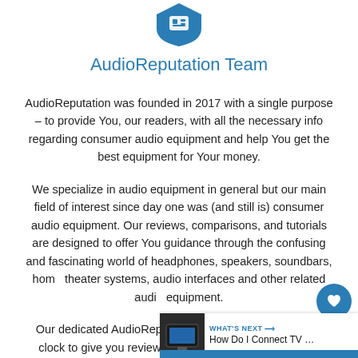[Figure (logo): AudioReputation logo — blue shield/heart shape with white symbol at top of page]
AudioReputation Team
AudioReputation was founded in 2017 with a single purpose – to provide You, our readers, with all the necessary info regarding consumer audio equipment and help You get the best equipment for Your money.
We specialize in audio equipment in general but our main field of interest since day one was (and still is) consumer audio equipment. Our reviews, comparisons, and tutorials are designed to offer You guidance through the confusing and fascinating world of headphones, speakers, soundbars, home theater systems, audio interfaces and other related audio equipment.
Our dedicated AudioReputation Team is working around the clock to give you reviews of the latest audio gear along with objective and unbiased insights. Accuracy and objectivity are our top priorities and we've been sticking to these principles